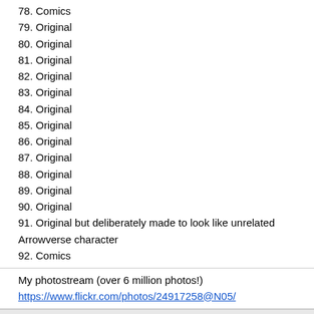78. Comics
79. Original
80. Original
81. Original
82. Original
83. Original
84. Original
85. Original
86. Original
87. Original
88. Original
89. Original
90. Original
91. Original but deliberately made to look like unrelated Arrowverse character
92. Comics
My photostream (over 6 million photos!)
https://www.flickr.com/photos/24917258@N05/
Posted by Andy E. Nystrom
12/29/2021 8:42 am
#25
Adding next 30 source clues
1. Comics